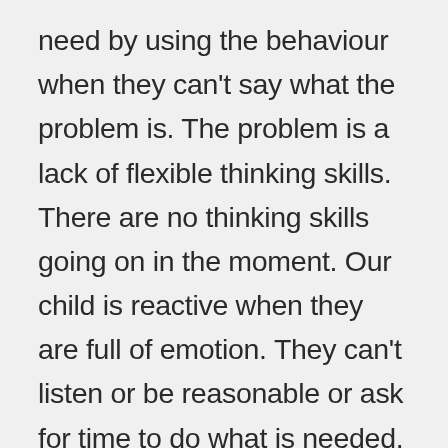need by using the behaviour when they can't say what the problem is. The problem is a lack of flexible thinking skills. There are no thinking skills going on in the moment. Our child is reactive when they are full of emotion. They can't listen or be reasonable or ask for time to do what is needed. The only way to respond is to reject their